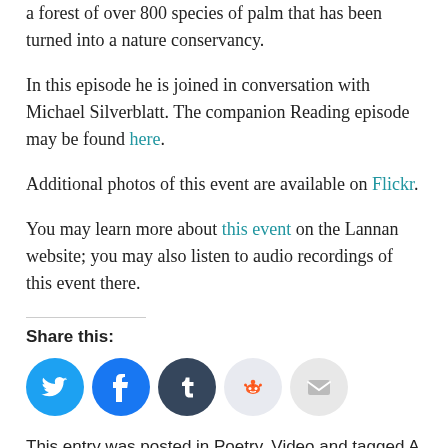a forest of over 800 species of palm that has been turned into a nature conservancy.
In this episode he is joined in conversation with Michael Silverblatt. The companion Reading episode may be found here.
Additional photos of this event are available on Flickr.
You may learn more about this event on the Lannan website; you may also listen to audio recordings of this event there.
Share this:
[Figure (other): Social share buttons: Twitter, Facebook, Tumblr, Reddit, Email]
This entry was posted in Poetry, Video and tagged A Mask for Janus, lannan foundation, michael silverblatt, poet, Purgatorio, Readings and Conversations, santa fe, Sir Gawain and the Green